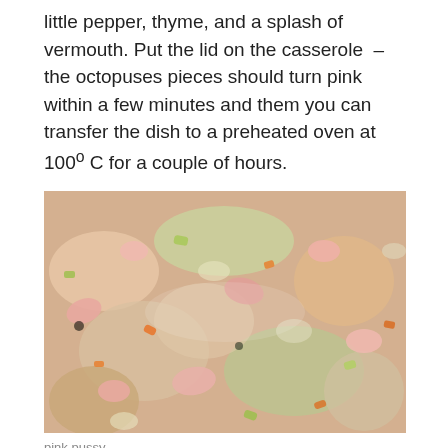little pepper, thyme, and a splash of vermouth. Put the lid on the casserole – the octopuses pieces should turn pink within a few minutes and them you can transfer the dish to a preheated oven at 100º C for a couple of hours.
[Figure (photo): Close-up photo of pink octopus pieces cooking with vegetables including onions and carrots, showing the seafood dish in preparation.]
pink pussy
If you octopuses have been frozen, then they should be tender well within an hour and a half. If the octopuses are fresh then they may require cooking for as long as three